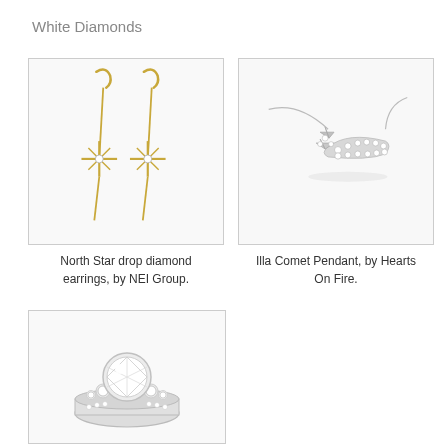White Diamonds
[Figure (photo): North Star drop diamond earrings in yellow gold with star-burst diamond accent pendants hanging from lever-back hooks]
[Figure (photo): Illa Comet Pendant in white gold/platinum with diamond-set shooting star design on a delicate chain]
North Star drop diamond earrings, by NEI Group.
Illa Comet Pendant, by Hearts On Fire.
[Figure (photo): Diamond engagement ring with large center round brilliant diamond flanked by smaller diamonds and pavé-set band in white gold/platinum]